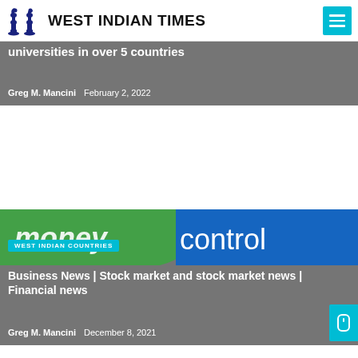West Indian Times
universities in over 5 countries
Greg M. Mancini   February 2, 2022
[Figure (logo): Moneycontrol logo with green and blue background, WEST INDIAN COUNTRIES badge in cyan]
Business News | Stock market and stock market news | Financial news
Greg M. Mancini   December 8, 2021